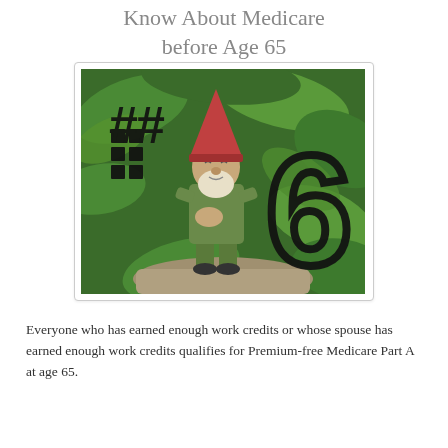Know About Medicare before Age 65
[Figure (photo): A garden gnome figurine standing on a rock surrounded by green foliage. Overlaid on the image is a large bold number '6' in a circular stroke, and stylized text '#6' or similar decorative text in the upper left.]
Everyone who has earned enough work credits or whose spouse has earned enough work credits qualifies for Premium-free Medicare Part A at age 65.